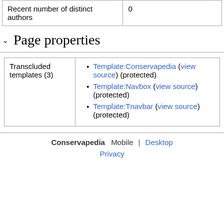| Recent number of distinct authors | 0 |
Page properties
| Transcluded templates (3) | Template:Conservapedia (view source) (protected)
Template:Navbox (view source) (protected)
Template:Tnavbar (view source) (protected) |
Conservapedia   Mobile | Desktop   Privacy